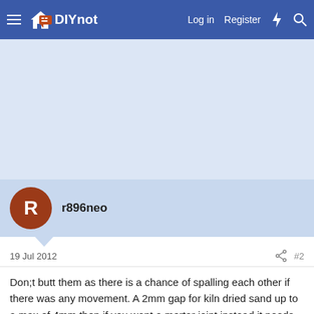DIYnot — Log in | Register
[Figure (other): Advertisement placeholder area (light blue background)]
r896neo
19 Jul 2012  #2
Don;t butt them as there is a chance of spalling each other if there was any movement. A 2mm gap for kiln dried sand up to a max of 4mm then if you want a mortar joint instead it needs to be at least 8mm.